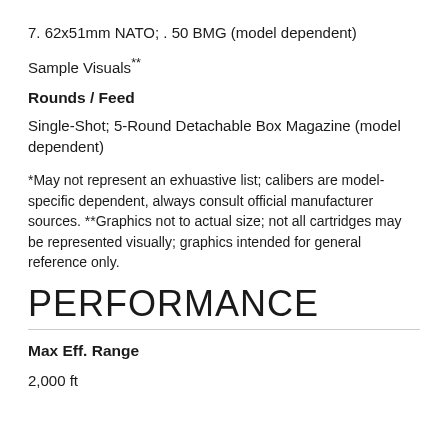7. 62x51mm NATO; . 50 BMG (model dependent)
Sample Visuals**
Rounds / Feed
Single-Shot; 5-Round Detachable Box Magazine (model dependent)
*May not represent an exhuastive list; calibers are model-specific dependent, always consult official manufacturer sources. **Graphics not to actual size; not all cartridges may be represented visually; graphics intended for general reference only.
PERFORMANCE
Max Eff. Range
2,000 ft